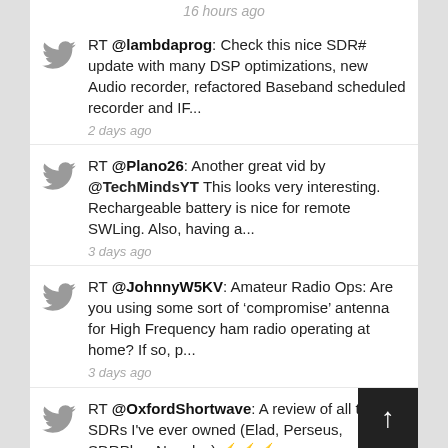16 hours ago
RT @lambdaprog: Check this nice SDR# update with many DSP optimizations, new Audio recorder, refactored Baseband scheduled recorder and IF...
2 days ago
RT @Plano26: Another great vid by @TechMindsYT This looks very interesting. Rechargeable battery is nice for remote SWLing. Also, having a...
3 days ago
RT @JohnnyW5KV: Amateur Radio Ops: Are you using some sort of ‘compromise’ antenna for High Frequency ham radio operating at home? If so, p...
3 days ago
RT @OxfordShortwave: A review of all the SDRs I've ever owned (Elad, Perseus, SDRPlay, Nooelec) ⚡⚡⚡ https://t.co/S7jbturq0i